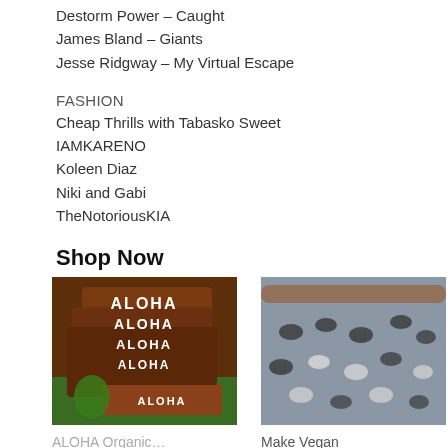Destorm Power – Caught
James Bland – Giants
Jesse Ridgway – My Virtual Escape
FASHION
Cheap Thrills with Tabasko Sweet
IAMKARENO
Koleen Diaz
Niki and Gabi
TheNotoriousKIA
Shop Now
[Figure (photo): ALOHA Organic protein bars product box photo]
ALOHA Organic…
[Figure (photo): Make Vegan Empanadas food photo showing dumplings on a dark baking sheet with a rolling pin]
Make Vegan Empanadas f…
✓prime